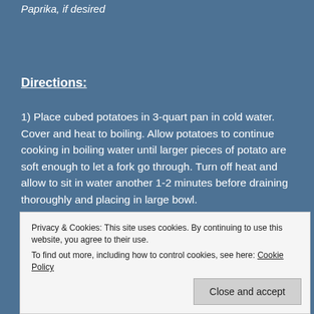Paprika, if desired
Directions:
1) Place cubed potatoes in 3-quart pan in cold water. Cover and heat to boiling. Allow potatoes to continue cooking in boiling water until larger pieces of potato are soft enough to let a fork go through. Turn off heat and allow to sit in water another 1-2 minutes before draining thoroughly and placing in large bowl.
Privacy & Cookies: This site uses cookies. By continuing to use this website, you agree to their use.
To find out more, including how to control cookies, see here: Cookie Policy
3) Add fennel, green onion, and pepper to potato